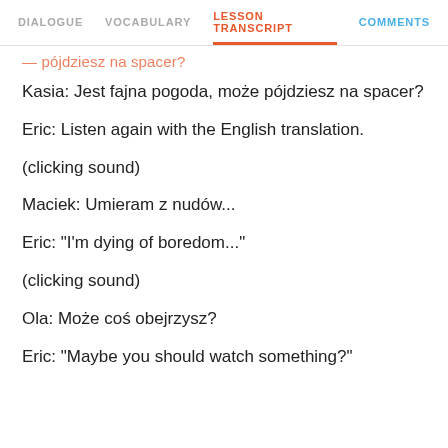DIALOGUE  VOCABULARY  LESSON TRANSCRIPT  COMMENTS
Kasia: Jest fajna pogoda, może pójdziesz na spacer?
Eric: Listen again with the English translation.
(clicking sound)
Maciek: Umieram z nudów...
Eric: "I'm dying of boredom..."
(clicking sound)
Ola: Może coś obejrzysz?
Eric: "Maybe you should watch something?"